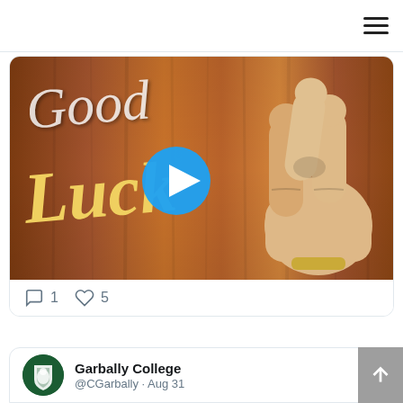[Figure (screenshot): Hamburger menu icon (three horizontal lines) in top right corner of a mobile web page]
[Figure (screenshot): Social media tweet showing a 'Good Luck' video thumbnail with crossed fingers emoji on a wood-grain brown background, with a blue play button overlay. Below are interaction icons: 1 comment and 5 likes.]
[Figure (screenshot): Partial tweet card from Garbally College (@CGarbally · Aug 31) with college crest avatar and Twitter bird icon, and a scroll-to-top button on the right]